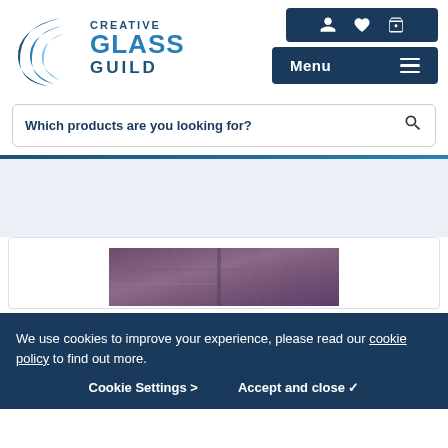[Figure (logo): Creative Glass Guild logo with circular swoosh design in blue and a menu bar with icons]
Which products are you looking for?
[Figure (photo): Purple/mauve stained glass texture image]
We use cookies to improve your experience, please read our cookie policy to find out more.
Cookie Settings > Accept and close ✓